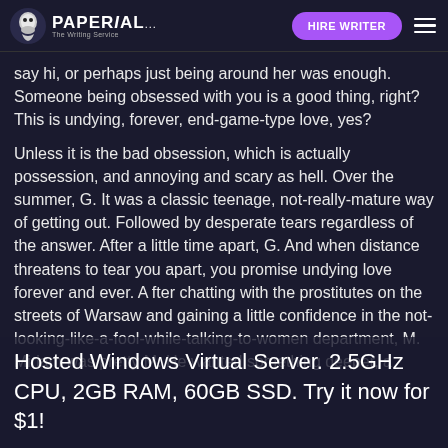PAPERIAL... HIRE WRITER
say hi, or perhaps just being around her was enough. Someone being obsessed with you is a good thing, right? This is undying, forever, end-game-type love, yes?
Unless it is the bad obsession, which is actually possession, and annoying and scary as hell. Over the summer, G. It was a classic teenage, not-really-mature way of getting out. Followed by desperate tears regardless of the answer. After a little time apart, G. And when distance threatens to tear you apart, you promise undying love forever and ever. A fter chatting with the prostitutes on the streets of Warsaw and gaining a little confidence in the not-looking-like-a-fool-while-talking-to-women department, M. Miriam was pretty M. He wanted something deeper, a
Hosted Windows Virtual Server. 2.5GHz CPU, 2GB RAM, 60GB SSD. Try it now for $1!